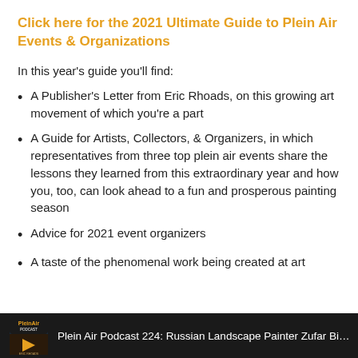Click here for the 2021 Ultimate Guide to Plein Air Events & Organizations
In this year's guide you'll find:
A Publisher's Letter from Eric Rhoads, on this growing art movement of which you're a part
A Guide for Artists, Collectors, & Organizers, in which representatives from three top plein air events share the lessons they learned from this extraordinary year and how you, too, can look ahead to a fun and prosperous painting season
Advice for 2021 event organizers
A taste of the phenomenal work being created at art
Plein Air Podcast 224: Russian Landscape Painter Zufar Bikbo